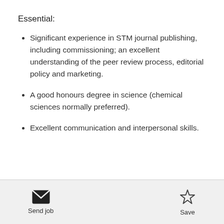Essential:
Significant experience in STM journal publishing, including commissioning; an excellent understanding of the peer review process, editorial policy and marketing.
A good honours degree in science (chemical sciences normally preferred).
Excellent communication and interpersonal skills.
Send job
Save